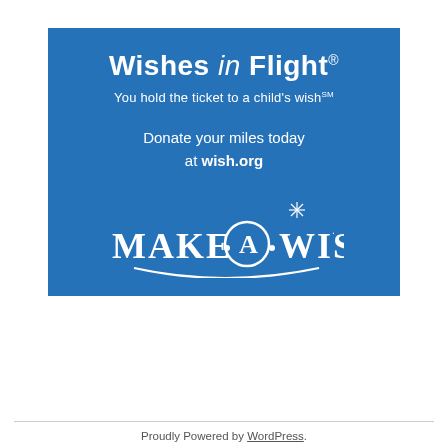[Figure (infographic): Blue square advertisement for Make-A-Wish 'Wishes in Flight' campaign. Text reads: 'Wishes in Flight® / You hold the ticket to a child's wish℠ / Donate your miles today at wish.org' with the Make-A-Wish foundation logo at the bottom.]
Proudly Powered by WordPress.